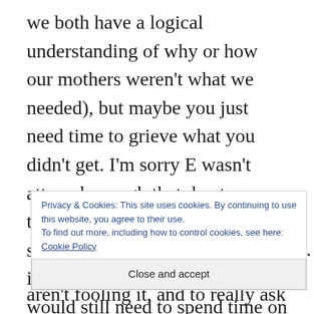we both have a logical understanding of why or how our mothers weren't what we needed), but maybe you just need time to grieve what you didn't get. I'm sorry E wasn't attuned enough that day to see that you really did need to spend some time on the mom stuff (and it makes sense to me that you would still need to spend time on it— it's big stuff!). I'm really glad you
Privacy & Cookies: This site uses cookies. By continuing to use this website, you agree to their use.
To find out more, including how to control cookies, see here: Cookie Policy
Close and accept
aren't fooling it, and to really ask for what